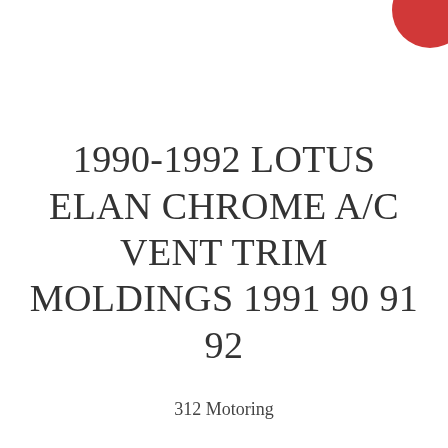[Figure (logo): Partial red circular logo/badge visible in the top-right corner]
1990-1992 LOTUS ELAN CHROME A/C VENT TRIM MOLDINGS 1991 90 91 92
312 Motoring